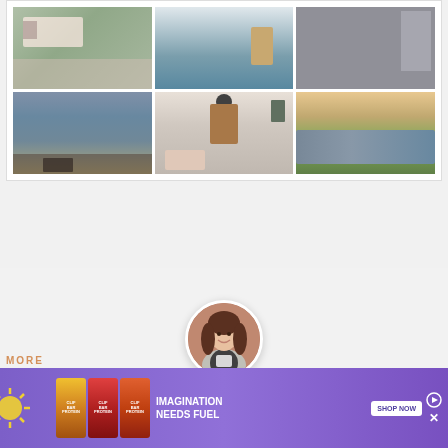[Figure (photo): A 3x2 grid of 6 photos: Row 1: (1) Pink/white RV with outdoor seating on a deck, (2) Blue-painted kitchen cabinets with wooden stool, (3) Two people standing in front of a decorated van interior. Row 2: (4) Two silhouettes sitting at a picnic table watching a sunset over water, (5) Bohemian RV bedroom interior with hanging accessories, plants, pink pillows, (6) RV parked in a green field at sunset.]
[Figure (photo): Circular avatar portrait of a smiling woman with long brown wavy hair holding a white mug, wearing a grey cardigan over a dark top.]
MORE
[Figure (other): Purple advertisement banner for Clif protein bars. Contains sunburst graphic, two Clif protein bar product images, text reading 'IMAGINATION NEEDS FUEL', and a 'SHOP NOW' button. Has a play/arrow icon and close X button at the top right.]